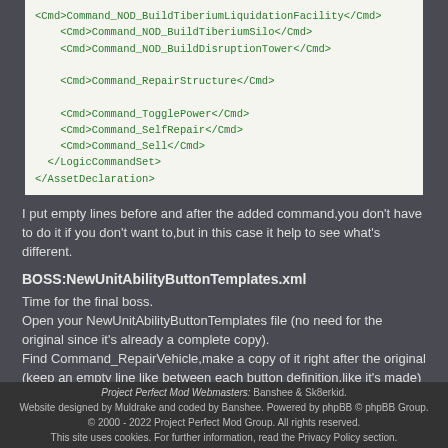[Figure (screenshot): Code block showing XML commands: Command_NOD_BuildTiberiumLiquidationFacility, Command_NOD_BuildTiberiumSilo, Command_NOD_BuildDisruptionTower, Command_RepairStructure, Command_TogglePower, Command_SelfRepair, Command_Sell, closing LogicCommandSet and AssetDeclaration tags]
I put empty lines before and after the added command,you don't have to do it if you don't want to,but in this case it help to see what's different.
BOSS:NewUnitAbilityButtonTemplates.xml
Time for the final boss.
Open your NewUnitAbilityButtonTemplates file (no need for the original since it's already a complete copy).
Find Command_RepairVehicle,make a copy of it right after the original (keep an empty line like between each button definition,like it's made) and modify it so it's like that:
[Figure (screenshot): Code block showing XML: <TargetedSpecialPowerButton Id="Command_RepairStructure" ValidTargetCursor="Bombard" >]
Project Perfect Mod Webmasters: Banshee & Sk8erkid. Website designed by Muldrake and coded by Banshee. Powered by phpBB © phpBB Group. © 2000 - 2022 Project Perfect Mod Group. All rights reserved. This site uses cookies. For further information, read the Privacy Policy section.